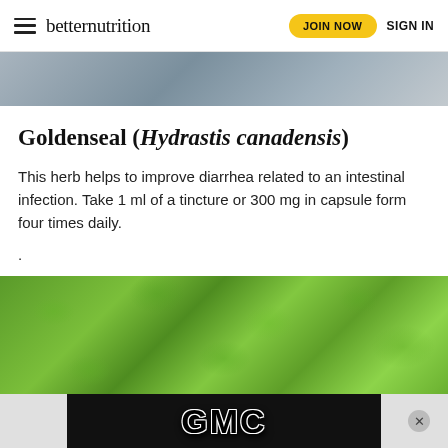betternutrition — JOIN NOW | SIGN IN
[Figure (photo): Partial view of a photo at the top of the page, appears to be a desk or table scene]
Goldenseal (Hydrastis canadensis)
This herb helps to improve diarrhea related to an intestinal infection. Take 1 ml of a tincture or 300 mg in capsule form four times daily.
.
[Figure (photo): Photo of green herb leaves (mint or similar herb plant), lush green foliage filling the frame]
[Figure (logo): GMC advertisement banner with GMC logo text in red on black background]